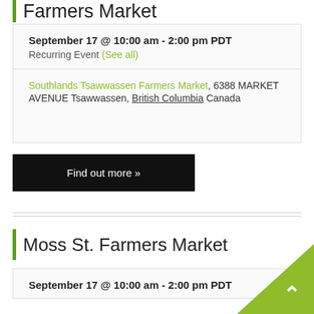Farmers Market
September 17 @ 10:00 am - 2:00 pm PDT
Recurring Event (See all)
Southlands Tsawwassen Farmers Market, 6388 MARKET AVENUE Tsawwassen, British Columbia Canada
Find out more »
Moss St. Farmers Market
September 17 @ 10:00 am - 2:00 pm PDT